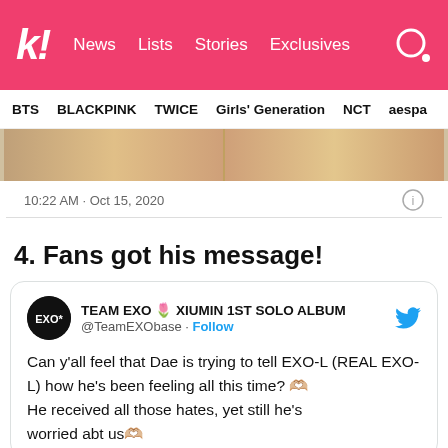k! News Lists Stories Exclusives
BTS BLACKPINK TWICE Girls' Generation NCT aespa
[Figure (photo): Partial image strip showing blurred golden/warm-toned photo content]
10:22 AM · Oct 15, 2020
4. Fans got his message!
TEAM EXO 🌷 XIUMIN 1ST SOLO ALBUM @TeamEXObase · Follow
Can y'all feel that Dae is trying to tell EXO-L (REAL EXO-L) how he's been feeling all this time? 🫶🏼
He received all those hates, yet still he's worried abt us🫶🏼